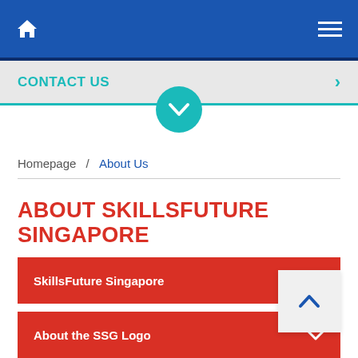SkillsFuture Singapore – mobile navigation bar
CONTACT US
[Figure (screenshot): Teal circle with white downward chevron icon, serving as a scroll/collapse toggle button]
Homepage / About Us
ABOUT SKILLSFUTURE SINGAPORE
SkillsFuture Singapore
About the SSG Logo
[Figure (screenshot): White scroll-to-top button overlay with blue upward chevron icon]